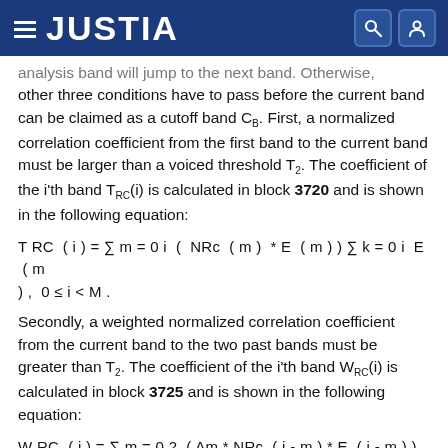JUSTIA
analysis band will jump to the next band. Otherwise, other three conditions have to pass before the current band can be claimed as a cutoff band C_B. First, a normalized correlation coefficient from the first band to the current band must be larger than a voiced threshold T_2. The coefficient of the i'th band T_RC(i) is calculated in block 3720 and is shown in the following equation:
Secondly, a weighted normalized correlation coefficient from the current band to the two past bands must be greater than T_2. The coefficient of the i'th band W_RC(i) is calculated in block 3725 and is shown in the following equation: